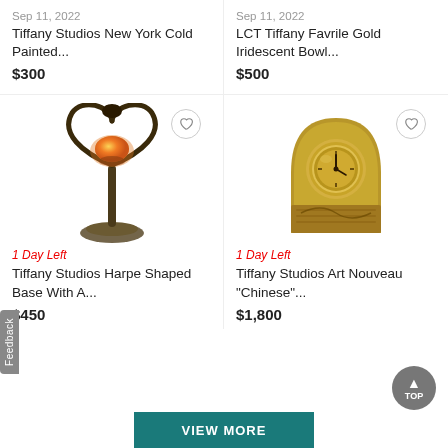Sep 11, 2022
Tiffany Studios New York Cold Painted...
$300
Sep 11, 2022
LCT Tiffany Favrile Gold Iridescent Bowl...
$500
[Figure (photo): Antique Tiffany Studios harp-shaped lamp base with orange art glass shade, dark bronze finish]
1 Day Left
Tiffany Studios Harpe Shaped Base With A...
$450
[Figure (photo): Tiffany Studios Art Nouveau Chinese style brass desk clock with ornate decorative base]
1 Day Left
Tiffany Studios Art Nouveau "Chinese"...
$1,800